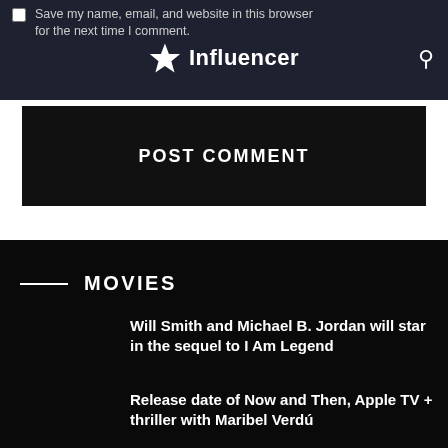Save my name, email, and website in this browser for the next time I comment.
Influencer
POST COMMENT
MOVIES
Will Smith and Michael B. Jordan will star in the sequel to I Am Legend
Release date of Now and Then, Apple TV + thriller with Maribel Verdú